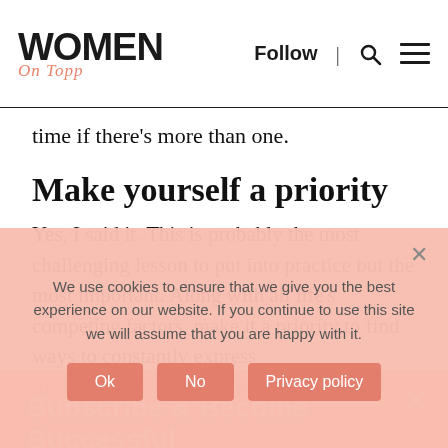WOMEN On Topp | Follow | [search] [menu]
time if there's more than one.
Make yourself a priority
Yes, I said it. This is probably the most challenging lesson to put into practice but the most important. Along with all life's competing factors, make it a priority to find ways to constantly express for this cadence called excellence.
Subscribe & Become Successful
receive our newsletters and updates by email
We use cookies to ensure that we give you the best experience on our website. If you continue to use this site we will assume that you are happy with it.